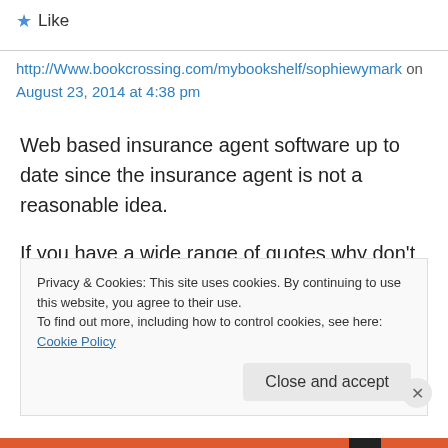★ Like
http://Www.bookcrossing.com/mybookshelf/sophiewymark on August 23, 2014 at 4:38 pm
Web based insurance agent software up to date since the insurance agent is not a reasonable idea.
If you have a wide range of quotes why don't you just
Privacy & Cookies: This site uses cookies. By continuing to use this website, you agree to their use.
To find out more, including how to control cookies, see here: Cookie Policy
Close and accept